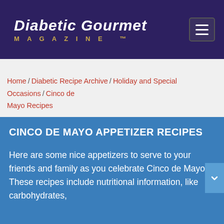Diabetic Gourmet Magazine
Home / Diabetic Recipe Archive / Holiday and Special Occasions / Cinco de Mayo Recipes
CINCO DE MAYO APPETIZER RECIPES
Here are some nice appetizers to serve to your friends and family as you celebrate Cinco de Mayo. These recipes include nutritional information, like carbohydrates,